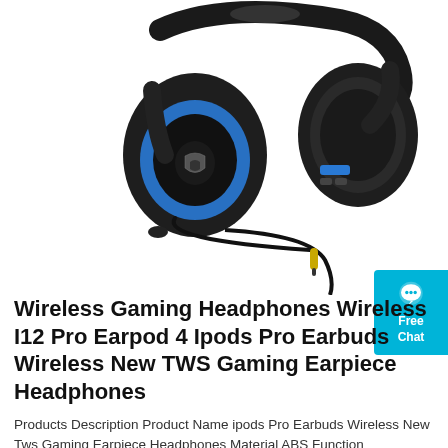[Figure (photo): Black and blue wireless gaming headset with detachable boom microphone and 3.5mm audio cable, shown on white background]
[Figure (infographic): Teal/blue Free Chat button with speech bubble icon in upper right corner]
Wireless Gaming Headphones Wireless I12 Pro Earpod 4 Ipods Pro Earbuds Wireless New TWS Gaming Earpiece Headphones
Products Description Product Name ipods Pro Earbuds Wireless New Tws Gaming Earpiece Headphones Material ABS Function Pease/decrease volume, Voice assistant Package Color Box Chips AB Bluetrum (AB5616) BT Distance ≥10m Speakers Φ10mm,posite